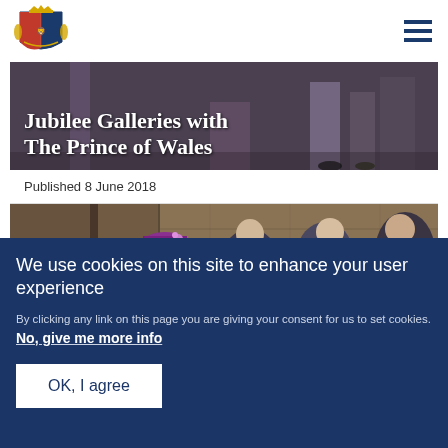[Figure (logo): Royal coat of arms / UK Government logo in blue and gold]
Jubilee Galleries with The Prince of Wales
Published 8 June 2018
[Figure (photo): Photo of the Queen wearing a purple hat with the Prince of Wales and clergymen at the Jubilee Galleries]
We use cookies on this site to enhance your user experience
By clicking any link on this page you are giving your consent for us to set cookies. No, give me more info
OK, I agree